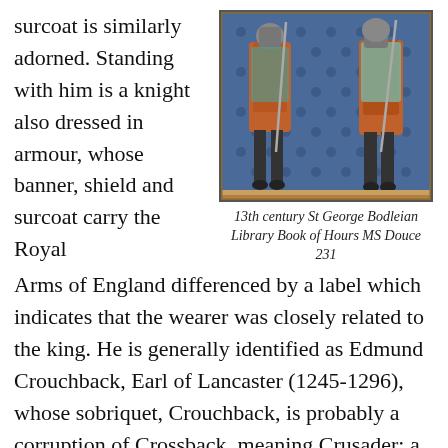surcoat is similarly adorned. Standing with him is a knight also dressed in armour, whose banner, shield and surcoat carry the Royal Arms of England differenced by a label which indicates that the wearer was closely related to the king. He is generally identified as Edmund Crouchback, Earl of Lancaster (1245-1296), whose sobriquet, Crouchback, is probably a corruption of Crossback, meaning Crusader: a good reason for him, a Crusader, to be associated with St. George, the Protector of Crusaders. The date attributed to this illumination by Wagner is 1295.
[Figure (illustration): 13th century medieval illumination showing two armoured knights standing, from the Bodleian Library Book of Hours MS Douce 231]
13th century St George Bodleian Library Book of Hours MS Douce 231